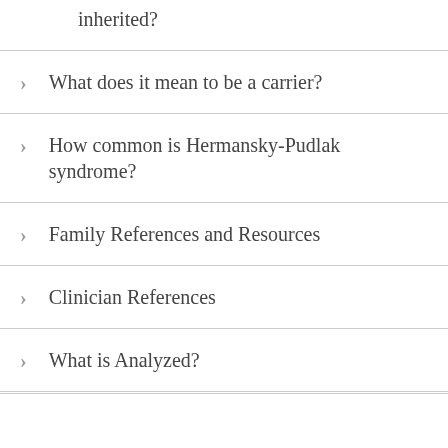inherited?
What does it mean to be a carrier?
How common is Hermansky-Pudlak syndrome?
Family References and Resources
Clinician References
What is Analyzed?